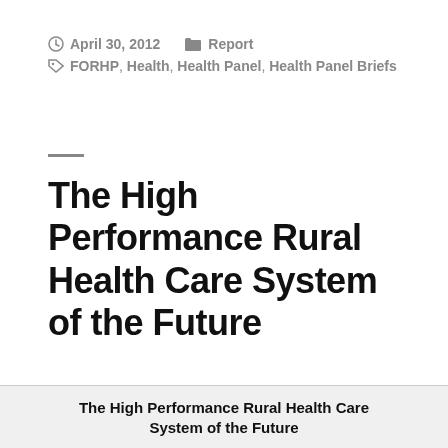April 30, 2012   Report
FORHP, Health, Health Panel, Health Panel Briefs
The High Performance Rural Health Care System of the Future
The High Performance Rural Health Care System of the Future